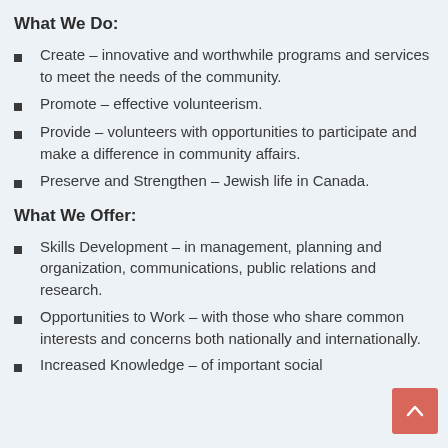What We Do:
Create – innovative and worthwhile programs and services to meet the needs of the community.
Promote – effective volunteerism.
Provide – volunteers with opportunities to participate and make a difference in community affairs.
Preserve and Strengthen – Jewish life in Canada.
What We Offer:
Skills Development – in management, planning and organization, communications, public relations and research.
Opportunities to Work – with those who share common interests and concerns both nationally and internationally.
Increased Knowledge – of important social